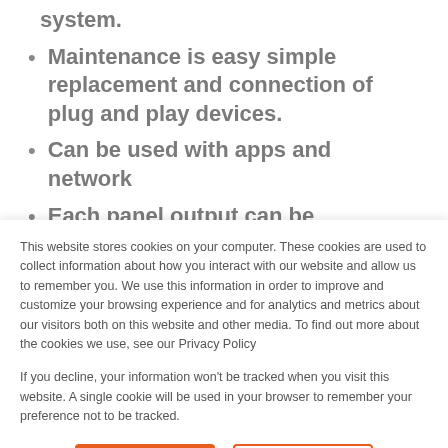system.
Maintenance is easy simple replacement and connection of plug and play devices.
Can be used with apps and network
Each panel output can be monitored throughout the day
The performance of the adjacent panels is not
This website stores cookies on your computer. These cookies are used to collect information about how you interact with our website and allow us to remember you. We use this information in order to improve and customize your browsing experience and for analytics and metrics about our visitors both on this website and other media. To find out more about the cookies we use, see our Privacy Policy
If you decline, your information won't be tracked when you visit this website. A single cookie will be used in your browser to remember your preference not to be tracked.